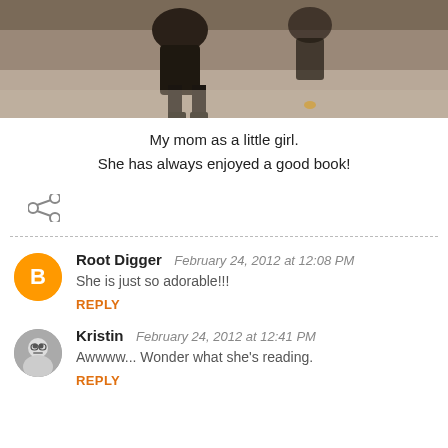[Figure (photo): Old sepia photograph of a young girl, partial view showing legs and ground]
My mom as a little girl.
She has always enjoyed a good book!
[Figure (other): Share icon (social sharing symbol)]
Root Digger  February 24, 2012 at 12:08 PM
She is just so adorable!!!
REPLY
Kristin  February 24, 2012 at 12:41 PM
Awwww... Wonder what she's reading.
REPLY